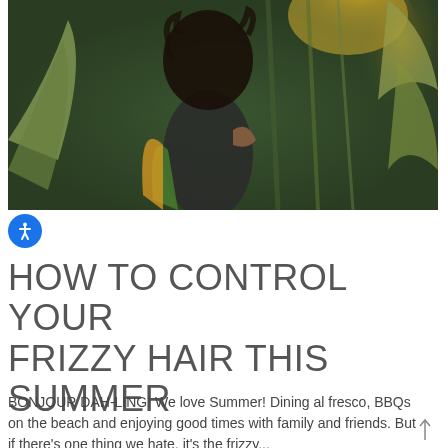[Figure (photo): Woman with curly hair wearing a black crop top and colorful floral jacket, standing among tropical green plants with sunlight behind her]
HOW TO CONTROL YOUR FRIZZY HAIR THIS SUMMER
BONJOUR DAH-LING! We love Summer! Dining al fresco, BBQs on the beach and enjoying good times with family and friends. But if there's one thing we hate, it's the frizzy...